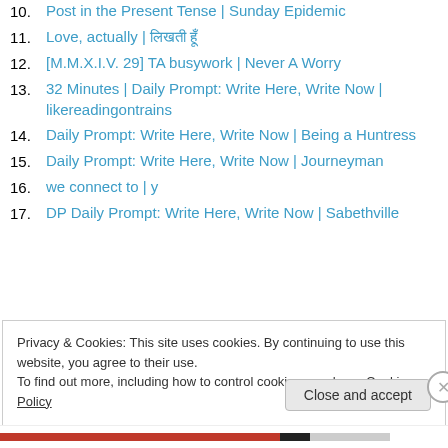10. Post in the Present Tense | Sunday Epidemic
11. Love, actually | लिखती हूँ
12. [M.M.X.I.V. 29] TA busywork | Never A Worry
13. 32 Minutes | Daily Prompt: Write Here, Write Now | likereadingontrains
14. Daily Prompt: Write Here, Write Now | Being a Huntress
15. Daily Prompt: Write Here, Write Now | Journeyman
16. we connect to | y
17. DP Daily Prompt: Write Here, Write Now | Sabethville
Privacy & Cookies: This site uses cookies. By continuing to use this website, you agree to their use.
To find out more, including how to control cookies, see here: Cookie Policy